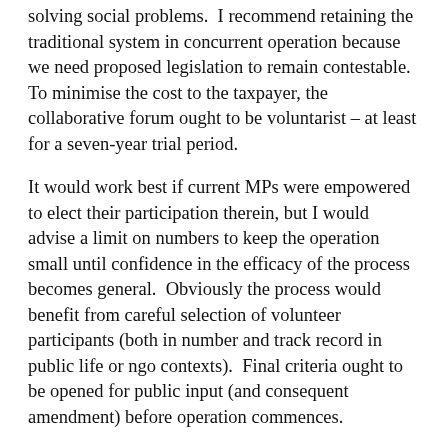solving social problems.  I recommend retaining the traditional system in concurrent operation because we need proposed legislation to remain contestable.  To minimise the cost to the taxpayer, the collaborative forum ought to be voluntarist – at least for a seven-year trial period.
It would work best if current MPs were empowered to elect their participation therein, but I would advise a limit on numbers to keep the operation small until confidence in the efficacy of the process becomes general.  Obviously the process would benefit from careful selection of volunteer participants (both in number and track record in public life or ngo contexts).  Final criteria ought to be opened for public input (and consequent amendment) before operation commences.
However, you must acknowledge that lateral-thinkers and natural problem-solvers are actively discriminated against in representative democracy! By virtue of its